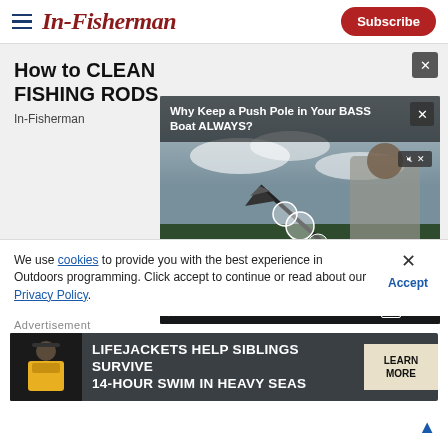In-Fisherman | Subscribe
How to CLEAN FISHING RODS
In-Fisherman
[Figure (screenshot): Video player showing 'Why Keep a Push Pole in Your BASS Boat ALWAYS?' with video controls showing 00:00 / 01:48]
We use cookies to provide you with the best experience in Outdoors programming. Click accept to continue or read about our Privacy Policy.
Advertisement
[Figure (photo): Advertisement banner: LIFEJACKETS HELP SIBLINGS SURVIVE 14-HOUR SWIM IN HEAVY SEAS with LEARN MORE button]